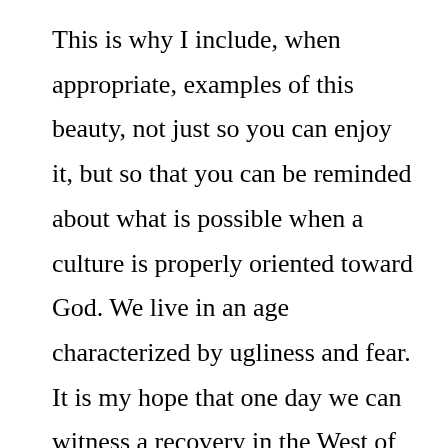This is why I include, when appropriate, examples of this beauty, not just so you can enjoy it, but so that you can be reminded about what is possible when a culture is properly oriented toward God. We live in an age characterized by ugliness and fear. It is my hope that one day we can witness a recovery in the West of Truth, Beauty, and Goodness, the three great transcendentals on which the West was built.